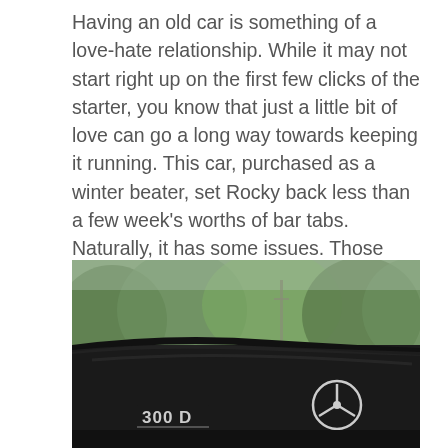Having an old car is something of a love-hate relationship. While it may not start right up on the first few clicks of the starter, you know that just a little bit of love can go a long way towards keeping it running. This car, purchased as a winter beater, set Rocky back less than a few week's worths of bar tabs. Naturally, it has some issues. Those issues are the reasons why it is such a lovable little tank. The imperfections that attributed to its low cost make it the right choice for Rocky to obliterate this winter with whatever northern Ohio can throw its way.
[Figure (photo): Close-up photo of the rear trunk lid of a black Mercedes-Benz 300D, showing the chrome '300 D' badge on the left and the iconic Mercedes-Benz three-pointed star logo on the right, with blurred green trees in the background.]